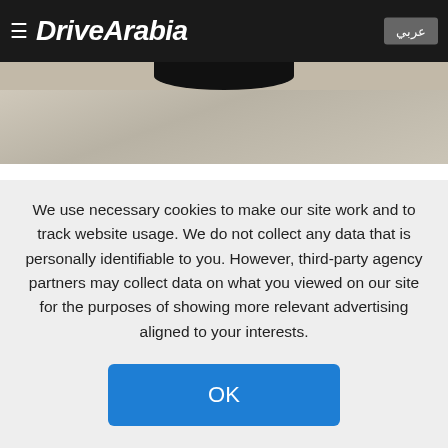≡ DriveArabia  عربي
[Figure (photo): Partial view of a car on a stone/gravel surface background, top portion visible]
Fiat-Chrysler being probed over diesel omissions fraud
We use necessary cookies to make our site work and to track website usage. We do not collect any data that is personally identifiable to you. However, third-party agency partners may collect data on what you viewed on our site for the purposes of showing more relevant advertising aligned to your interests.
OK